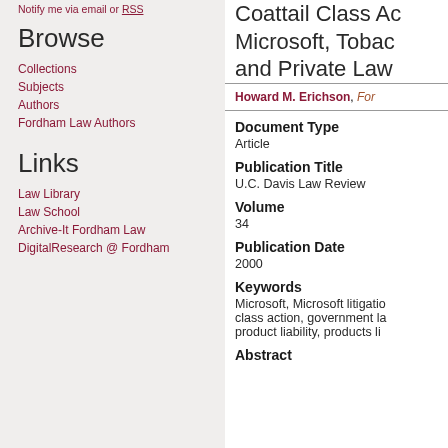Notify me via email or RSS
Browse
Collections
Subjects
Authors
Fordham Law Authors
Links
Law Library
Law School
Archive-It Fordham Law
DigitalResearch @ Fordham
Coattail Class Ac... Microsoft, Tobac... and Private Law...
Howard M. Erichson, Ford...
Document Type
Article
Publication Title
U.C. Davis Law Review
Volume
34
Publication Date
2000
Keywords
Microsoft, Microsoft litigation, class action, government la... product liability, products li...
Abstract